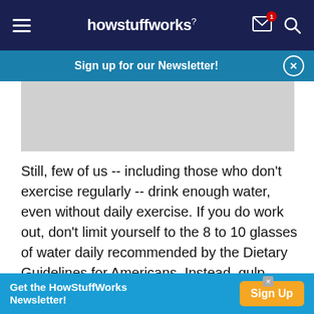howstuffworks
Sign up for our Newsletter!
[Figure (photo): Grey placeholder image area]
Still, few of us -- including those who don't exercise regularly -- drink enough water, even without daily exercise. If you do work out, don't limit yourself to the 8 to 10 glasses of water daily recommended by the Dietary Guidelines for Americans. Instead, gulp another 12 to 16 ounces (3.4 to 4.5 deciliters) before hitting the gym, and 8 to 10 ounces (227 to 283
Get the HowStuffWorks Newsletter!  Sign Up